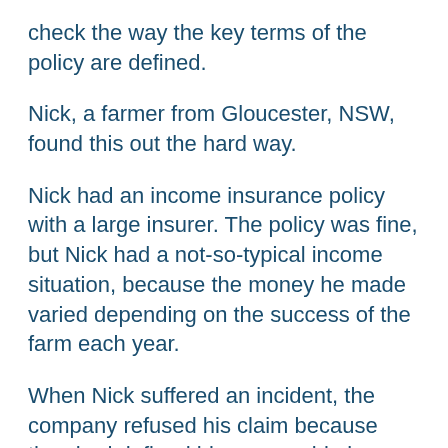check the way the key terms of the policy are defined.
Nick, a farmer from Gloucester, NSW, found this out the hard way.
Nick had an income insurance policy with a large insurer. The policy was fine, but Nick had a not-so-typical income situation, because the money he made varied depending on the success of the farm each year.
When Nick suffered an incident, the company refused his claim because they had defined his assessable income as being based on [Feedback] able